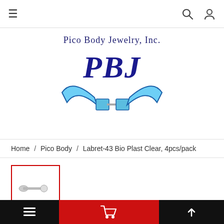Navigation bar with hamburger menu, search icon, and user icon
[Figure (logo): Pico Body Jewelry, Inc. logo with 'PBJ' text in dark blue italic font and two cyan/blue curved tusk shapes around a barbell]
Home / Pico Body / Labret-43 Bio Plast Clear, 4pcs/pack
[Figure (photo): Small product thumbnail image of labret jewelry piece in a red-bordered box]
Bottom navigation bar with menu, cart, and other icons